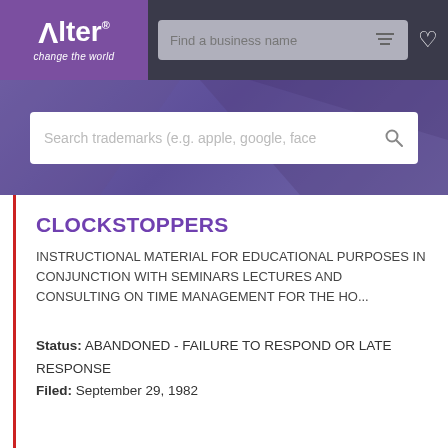Alter® change the world — Find a business name
[Figure (screenshot): Alter trademark search website header with logo, business name search bar, and heart icon]
CLOCKSTOPPERS
INSTRUCTIONAL MATERIAL FOR EDUCATIONAL PURPOSES IN CONJUNCTION WITH SEMINARS LECTURES AND CONSULTING ON TIME MANAGEMENT FOR THE HO...
Status: ABANDONED - FAILURE TO RESPOND OR LATE RESPONSE
Filed: September 29, 1982